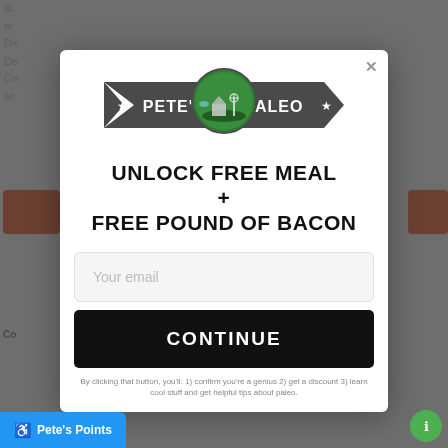[Figure (screenshot): Pete's Paleo website modal popup overlay on a website background]
[Figure (logo): Pete's Paleo logo: dark banner with stars and circular farm scene illustration in center]
UNLOCK FREE MEAL + FREE POUND OF BACON
Your email
CONTINUE
By clicking that button, you'll: 1) confirm you're a genius 2) get a discount 3) learn cool stuff and get helpful tips about paleo.
Pete's Points